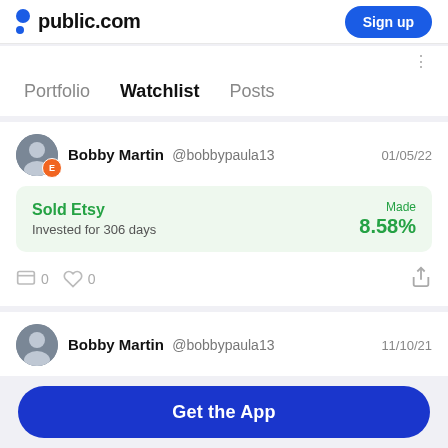public.com   Sign up
Portfolio   Watchlist   Posts
Bobby Martin @bobbypaula13   01/05/22
Sold Etsy
Invested for 306 days
Made 8.58%
0   0
Bobby Martin @bobbypaula13   11/10/21
Get the App